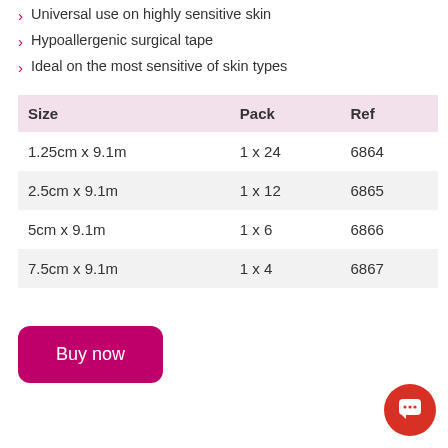Universal use on highly sensitive skin
Hypoallergenic surgical tape
Ideal on the most sensitive of skin types
| Size | Pack | Ref |
| --- | --- | --- |
| 1.25cm x 9.1m | 1 x 24 | 6864 |
| 2.5cm x 9.1m | 1 x 12 | 6865 |
| 5cm x 9.1m | 1 x 6 | 6866 |
| 7.5cm x 9.1m | 1 x 4 | 6867 |
Buy now